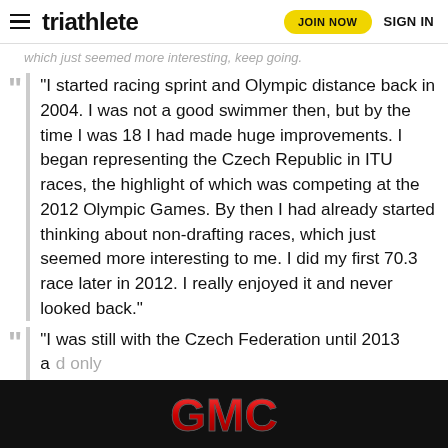triathlete | JOIN NOW | SIGN IN
...which just seemed more interesting, keep going.
"I started racing sprint and Olympic distance back in 2004. I was not a good swimmer then, but by the time I was 18 I had made huge improvements. I began representing the Czech Republic in ITU races, the highlight of which was competing at the 2012 Olympic Games. By then I had already started thinking about non-drafting races, which just seemed more interesting to me. I did my first 70.3 race later in 2012. I really enjoyed it and never looked back."
"I was still with the Czech Federation until 2013 and only d... the
[Figure (logo): GMC logo on black background banner ad]